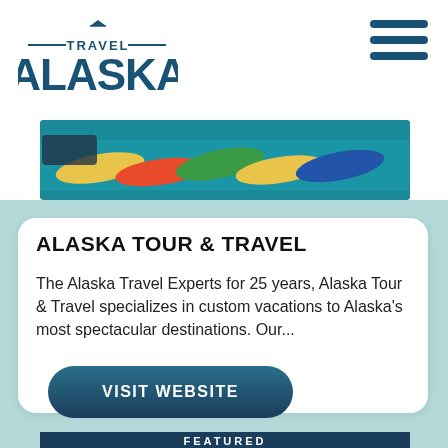[Figure (logo): Travel Alaska logo with mountain icon and decorative lines]
[Figure (photo): Aerial view of colorful kayaks arranged at a dock in Alaska]
ALASKA TOUR & TRAVEL
The Alaska Travel Experts for 25 years, Alaska Tour & Travel specializes in custom vacations to Alaska's most spectacular destinations. Our...
[Figure (other): Visit Website button - dark teal rounded pill button]
[Figure (photo): Partial bottom image teaser showing FEATURED section]